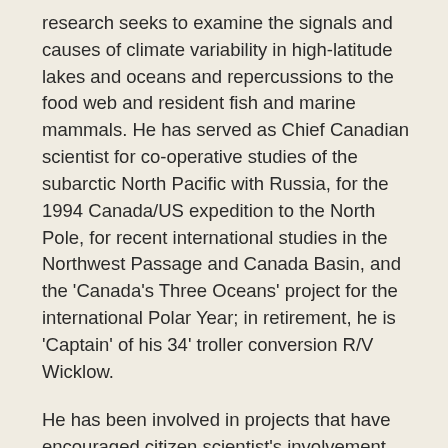research seeks to examine the signals and causes of climate variability in high-latitude lakes and oceans and repercussions to the food web and resident fish and marine mammals. He has served as Chief Canadian scientist for co-operative studies of the subarctic North Pacific with Russia, for the 1994 Canada/US expedition to the North Pole, for recent international studies in the Northwest Passage and Canada Basin, and the 'Canada's Three Oceans' project for the international Polar Year; in retirement, he is 'Captain' of his 34' troller conversion R/V Wicklow.
He has been involved in projects that have encouraged citizen scientist's involvement, such as "The Drift Bottle Project". Since 2000, he, together with citizen scientists, students, and other interested volunteers, has tossed over 5,000 bottles into waters surrounding North America and stretching from the Arctic to Antarctica. Contained inside are messages describing